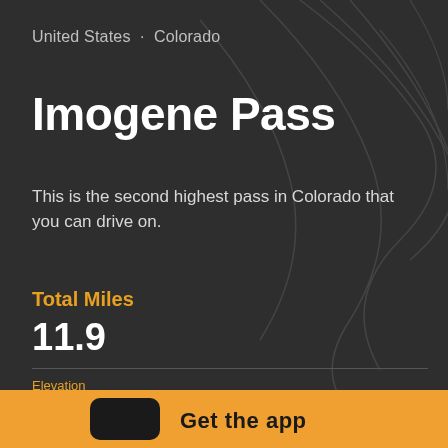United States · Colorado
Imogene Pass
This is the second highest pass in Colorado that you can drive on.
Total Miles
11.9
Elevation
4020.64 ft